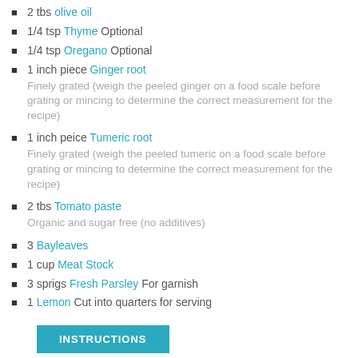2 tbs olive oil
1/4 tsp Thyme Optional
1/4 tsp Oregano Optional
1 inch piece Ginger root — Finely grated (weigh the peeled ginger on a food scale before grating or mincing to determine the correct measurement for the recipe)
1 inch peice Tumeric root — Finely grated (weigh the peeled tumeric on a food scale before grating or mincing to determine the correct measurement for the recipe)
2 tbs Tomato paste — Organic and sugar free (no additives)
3 Bayleaves
1 cup Meat Stock
3 sprigs Fresh Parsley For garnish
1 Lemon Cut into quarters for serving
INSTRUCTIONS